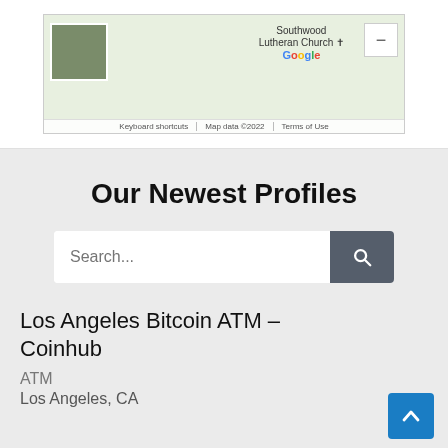[Figure (screenshot): Google Maps screenshot showing Southwood Lutheran Church location with map thumbnail, zoom controls, and footer with Keyboard shortcuts, Map data ©2022, Terms of Use]
Our Newest Profiles
Search...
Los Angeles Bitcoin ATM – Coinhub
ATM
Los Angeles, CA